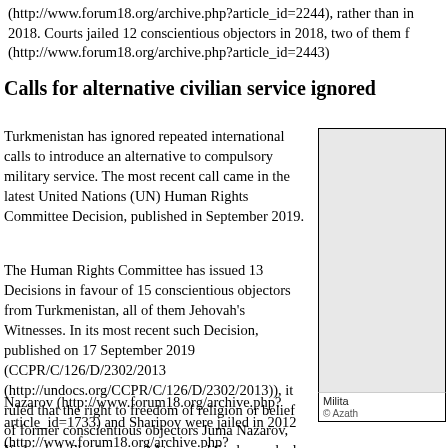(http://www.forum18.org/archive.php?article_id=2244), rather than in 2018. Courts jailed 12 conscientious objectors in 2018, two of them for (http://www.forum18.org/archive.php?article_id=2443)
Calls for alternative civilian service ignored
Turkmenistan has ignored repeated international calls to introduce an alternative to compulsory military service. The most recent call came in the latest United Nations (UN) Human Rights Committee Decision, published in September 2019.
The Human Rights Committee has issued 13 Decisions in favour of 15 conscientious objectors from Turkmenistan, all of them Jehovah's Witnesses. In its most recent such Decision, published on 17 September 2019 (CCPR/C/126/D/2302/2013 (http://undocs.org/CCPR/C/126/D/2302/2013)), it ruled that the right to freedom of religion or belief of former conscientious objectors Juma Nazarov, Yadgarbek Sharipov, and Atamurad Suvhanov had been violated by their jailing.
[Figure (photo): Military photograph, credited to Azath...]
Milita... © Azath...
Nazarov (http://www.forum18.org/archive.php?article_id=1733) and Sharipov were jailed in 2012 (http://www.forum18.org/archive.php?article_id=1802), and Suvhan...